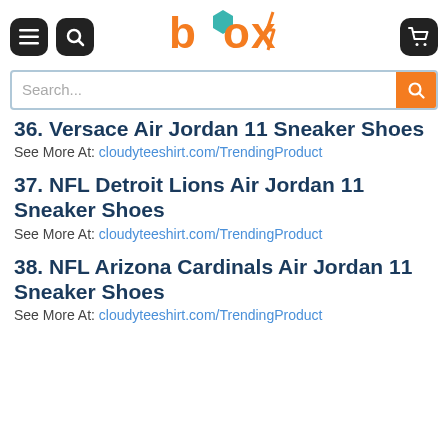box (logo)
36. Versace Air Jordan 11 Sneaker Shoes
See More At: cloudyteeshirt.com/TrendingProduct
37. NFL Detroit Lions Air Jordan 11 Sneaker Shoes
See More At: cloudyteeshirt.com/TrendingProduct
38. NFL Arizona Cardinals Air Jordan 11 Sneaker Shoes
See More At: cloudyteeshirt.com/TrendingProduct